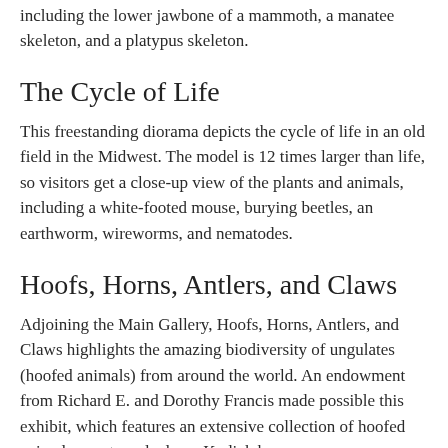including the lower jawbone of a mammoth, a manatee skeleton, and a platypus skeleton.
The Cycle of Life
This freestanding diorama depicts the cycle of life in an old field in the Midwest. The model is 12 times larger than life, so visitors get a close-up view of the plants and animals, including a white-footed mouse, burying beetles, an earthworm, wireworms, and nematodes.
Hoofs, Horns, Antlers, and Claws
Adjoining the Main Gallery, Hoofs, Horns, Antlers, and Claws highlights the amazing biodiversity of ungulates (hoofed animals) from around the world. An endowment from Richard E. and Dorothy Francis made possible this exhibit, which features an extensive collection of hoofed animal mounts and a large Kodiak bear.
The Paul M. Daniel Classroom